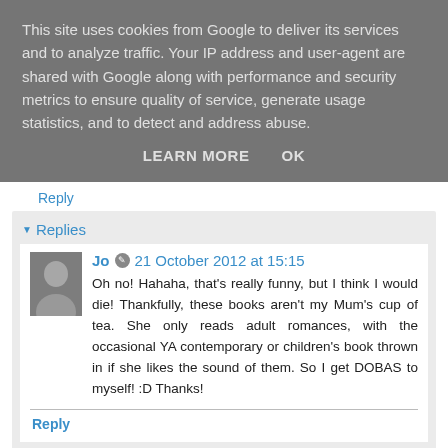This site uses cookies from Google to deliver its services and to analyze traffic. Your IP address and user-agent are shared with Google along with performance and security metrics to ensure quality of service, generate usage statistics, and to detect and address abuse.
LEARN MORE   OK
Reply
Replies
Jo  21 October 2012 at 15:15
Oh no! Hahaha, that's really funny, but I think I would die! Thankfully, these books aren't my Mum's cup of tea. She only reads adult romances, with the occasional YA contemporary or children's book thrown in if she likes the sound of them. So I get DOBAS to myself! :D Thanks!
Reply